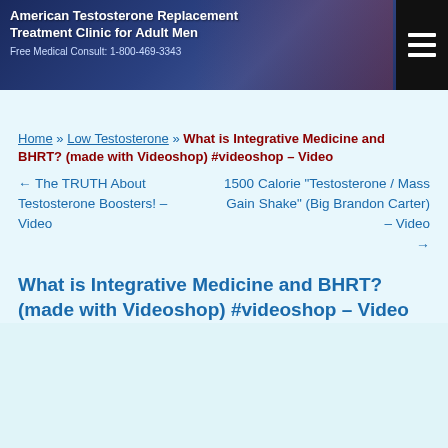[Figure (screenshot): Website header banner for American Testosterone Replacement Treatment Clinic for Adult Men with phone number 1-800-469-3343, dark blue background with figures, and hamburger menu icon]
Home » Low Testosterone » What is Integrative Medicine and BHRT? (made with Videoshop) #videoshop – Video
← The TRUTH About Testosterone Boosters! – Video
1500 Calorie "Testosterone / Mass Gain Shake" (Big Brandon Carter) – Video →
What is Integrative Medicine and BHRT? (made with Videoshop) #videoshop – Video